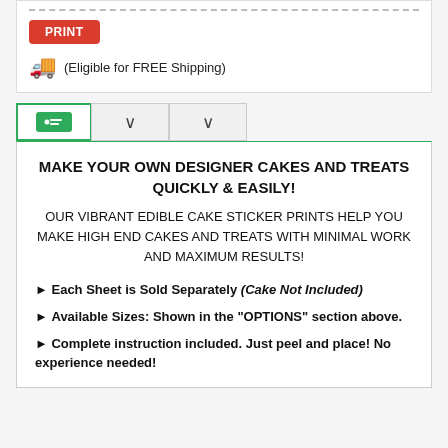[Figure (illustration): Red PRINT button]
(Eligible for FREE Shipping)
[Figure (illustration): Tab navigation with green tag icon and two dropdown chevron tabs]
MAKE YOUR OWN DESIGNER CAKES AND TREATS QUICKLY & EASILY!
OUR VIBRANT EDIBLE CAKE STICKER PRINTS HELP YOU MAKE HIGH END CAKES AND TREATS WITH MINIMAL WORK AND MAXIMUM RESULTS!
► Each Sheet is Sold Separately (Cake Not Included)
► Available Sizes: Shown in the "OPTIONS" section above.
► Complete instruction included. Just peel and place! No experience needed!